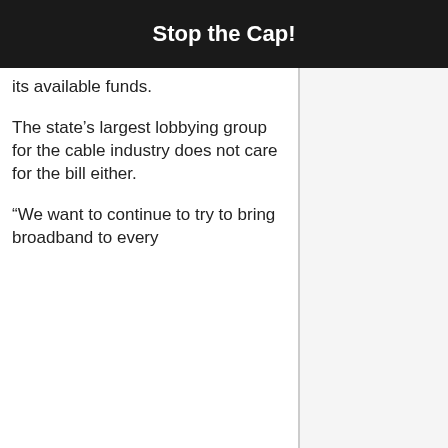Stop the Cap!
its available funds.
The state's largest lobbying group for the cable industry does not care for the bill either.
“We want to continue to try to bring broadband to every